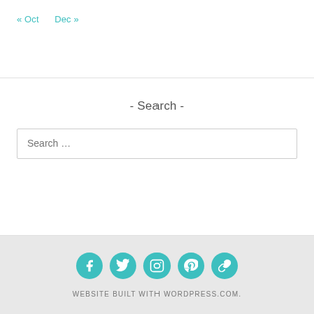« Oct   Dec »
- Search -
Search …
[Figure (infographic): Five teal circular social media icons: Facebook, Twitter, Instagram, Pinterest, and a links/chain icon]
WEBSITE BUILT WITH WORDPRESS.COM.